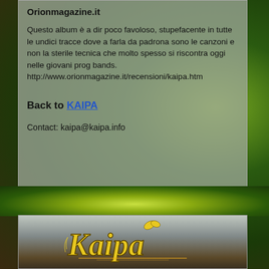Orionmagazine.it
Questo album è a dir poco favoloso, stupefacente in tutte le undici tracce dove a farla da padrona sono le canzoni e non la sterile tecnica che molto spesso si riscontra oggi nelle giovani prog bands.
http://www.orionmagazine.it/recensioni/kaipa.htm
Back to KAIPA
Contact: kaipa@kaipa.info
[Figure (logo): Kaipa band logo in stylized golden/yellow script font with butterfly, displayed on a banner with sunset/landscape background]